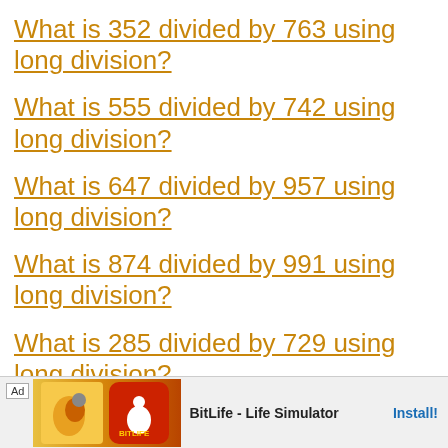What is 352 divided by 763 using long division?
What is 555 divided by 742 using long division?
What is 647 divided by 957 using long division?
What is 874 divided by 991 using long division?
What is 285 divided by 729 using long division?
Wha…
[Figure (other): Advertisement banner for BitLife - Life Simulator app with install button]